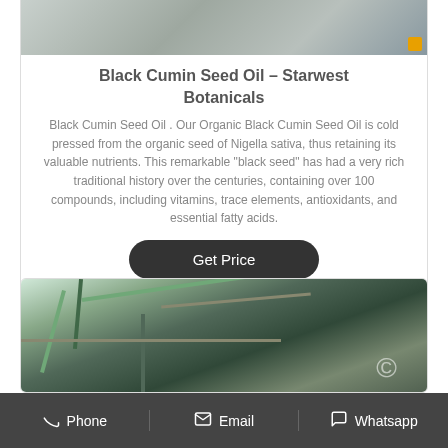[Figure (photo): Product image of Black Cumin Seed Oil, partially visible at top of page (top portion cropped)]
Black Cumin Seed Oil - Starwest Botanicals
Black Cumin Seed Oil . Our Organic Black Cumin Seed Oil is cold pressed from the organic seed of Nigella sativa, thus retaining its valuable nutrients. This remarkable "black seed" has had a very rich traditional history over the centuries, containing over 100 compounds, including vitamins, trace elements, antioxidants, and essential fatty acids.
[Figure (photo): Industrial machinery interior with green metal beams and pipes, appears to be a manufacturing or processing plant]
Phone   Email   Whatsapp